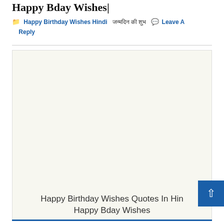Happy Bday Wishes|
Happy Birthday Wishes Hindi  जन्मदिन की शुभ  Leave A Reply
[Figure (other): White/blank advertisement area]
Happy Birthday Wishes Quotes In Hindi Happy Bday Wishes